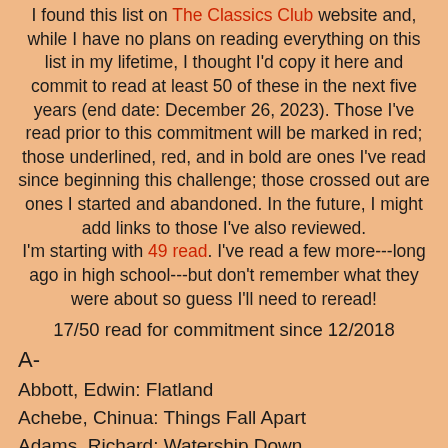I found this list on The Classics Club website and, while I have no plans on reading everything on this list in my lifetime, I thought I'd copy it here and commit to read at least 50 of these in the next five years (end date: December 26, 2023). Those I've read prior to this commitment will be marked in red; those underlined, red, and in bold are ones I've read since beginning this challenge; those crossed out are ones I started and abandoned. In the future, I might add links to those I've also reviewed. I'm starting with 49 read. I've read a few more---long ago in high school---but don't remember what they were about so guess I'll need to reread!
17/50 read for commitment since 12/2018
A-
Abbott, Edwin: Flatland
Achebe, Chinua: Things Fall Apart
Adams, Richard: Watership Down